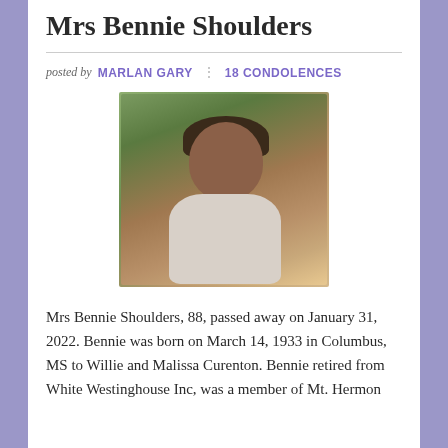Mrs Bennie Shoulders
posted by MARLAN GARY : 18 CONDOLENCES
[Figure (photo): Portrait photo of Mrs Bennie Shoulders, an elderly woman with short gray hair and glasses, smiling, outdoors with trees in background]
Mrs Bennie Shoulders, 88, passed away on January 31, 2022. Bennie was born on March 14, 1933 in Columbus, MS to Willie and Malissa Curenton. Bennie retired from White Westinghouse Inc, was a member of Mt. Hermon